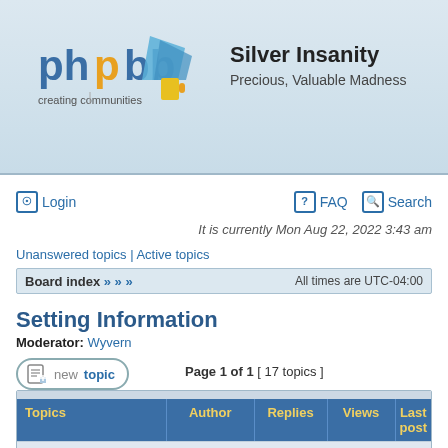[Figure (logo): phpBB logo with text 'creating communities']
Silver Insanity
Precious, Valuable Madness
Login
FAQ   Search
It is currently Mon Aug 22, 2022 3:43 am
Unanswered topics | Active topics
Board index » » »   All times are UTC-04:00
Setting Information
Moderator: Wyvern
Page 1 of 1  [ 17 topics ]
| Topics | Author | Replies | Views | Last post |
| --- | --- | --- | --- | --- |
| Announcements |  |  |  |  |
| New User Registration Disabled
in Anything and Everything | Benabik | 1 | 51008 | Sat Mar 28, 2020 10:16 pm
Benabik |